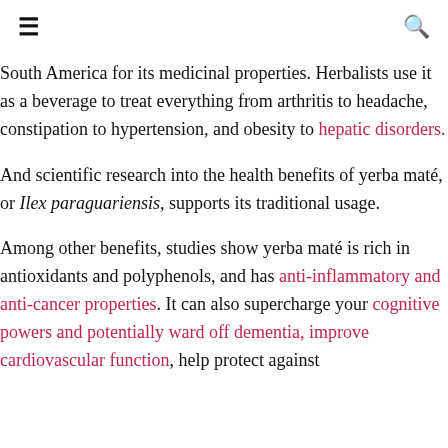≡  🔍
South America for its medicinal properties. Herbalists use it as a beverage to treat everything from arthritis to headache, constipation to hypertension, and obesity to hepatic disorders.
And scientific research into the health benefits of yerba maté, or Ilex paraguariensis, supports its traditional usage.
Among other benefits, studies show yerba maté is rich in antioxidants and polyphenols, and has anti-inflammatory and anti-cancer properties. It can also supercharge your cognitive powers and potentially ward off dementia, improve cardiovascular function, help protect against